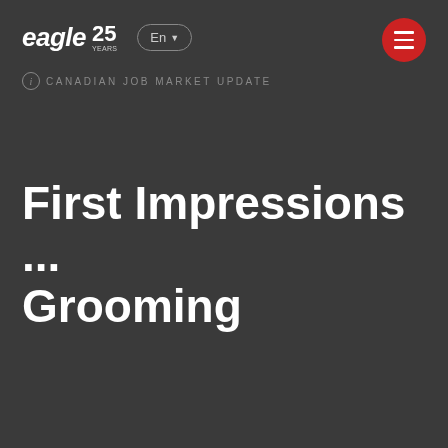eagle 25 | En | CANADIAN JOB MARKET UPDATE
First Impressions ... Grooming